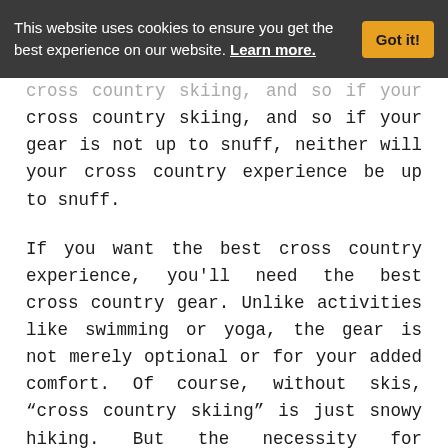This website uses cookies to ensure you get the best experience on our website. Learn more. Got it!
cross country skiing, and so if your gear is not up to snuff, neither will your cross country experience be up to snuff.
If you want the best cross country experience, you'll need the best cross country gear. Unlike activities like swimming or yoga, the gear is not merely optional or for your added comfort. Of course, without skis, “cross country skiing” is just snowy hiking. But the necessity for reliable gear goes beyond that. If you don't want to freeze or sunburn or dehydrate on your journey you'll need several items